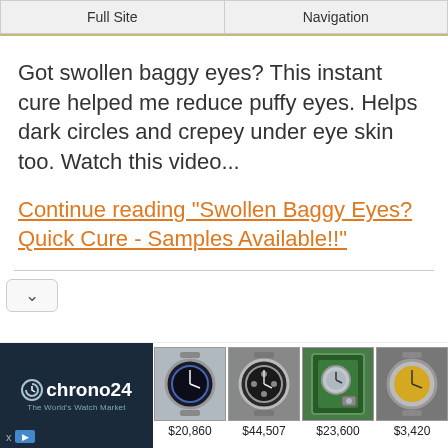Full Site | Navigation
Got swollen baggy eyes? This instant cure helped me reduce puffy eyes. Helps dark circles and crepey under eye skin too. Watch this video...
Continue reading "Swollen Baggy Eyes? Quick Cure - Samples Available!!"
[Figure (screenshot): Chrono24 advertisement banner showing four luxury watches with prices: $20,860, $44,507, $23,600, $3,420]